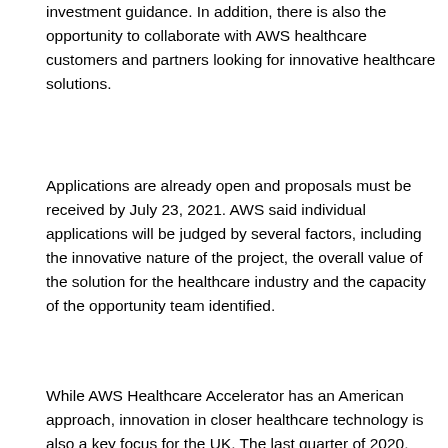investment guidance. In addition, there is also the opportunity to collaborate with AWS healthcare customers and partners looking for innovative healthcare solutions.
Applications are already open and proposals must be received by July 23, 2021. AWS said individual applications will be judged by several factors, including the innovative nature of the project, the overall value of the solution for the healthcare industry and the capacity of the opportunity team identified.
While AWS Healthcare Accelerator has an American approach, innovation in closer healthcare technology is also a key focus for the UK. The last quarter of 2020, Deloitte launched Health Tech Catalyst, a health technology innovation center in Birmingham. While in March of this year, Peppy Health was crowned as the winner of Digital Health Rewired Pitchfest 2021, an initiative to help emerging